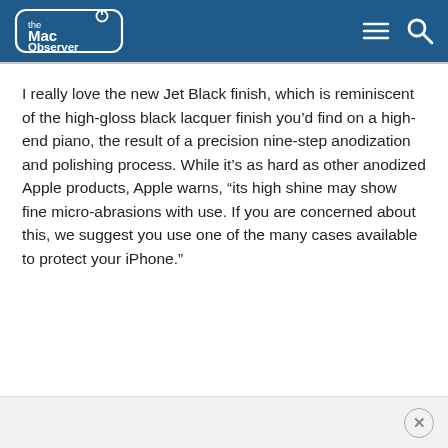the Mac Observer
I really love the new Jet Black finish, which is reminiscent of the high-gloss black lacquer finish you’d find on a high-end piano, the result of a precision nine-step anodization and polishing process. While it’s as hard as other anodized Apple products, Apple warns, “its high shine may show fine micro-abrasions with use. If you are concerned about this, we suggest you use one of the many cases available to protect your iPhone.”